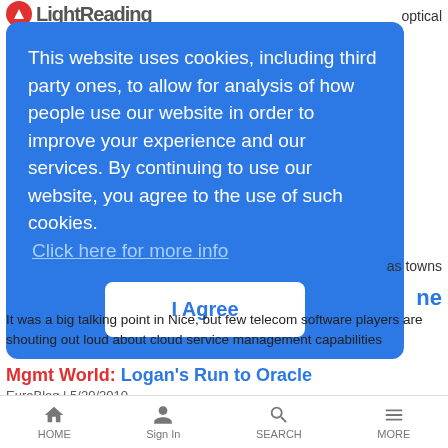LightReading
optical
[Figure (screenshot): Cookie consent popup with blue background. Text: 'This website uses cookies, including third party ones, to allow for analysis of how people use our website in order to improve your experience and our services. By continuing to use our website, you agree to the use of such cookies.' Link: 'Click here for more info'. Button: 'I Agree'.]
as towns
ne
It was a big talking point in Nice, but few telecom software players are shouting out loud about cloud service management capabilities
Mgmt World: Logan's Run to Oracle
EuroBlog | 5/20/2010
7:30 AM OSS guru to build Oracle consulting/integration team
HOME  Sign In  SEARCH  MORE